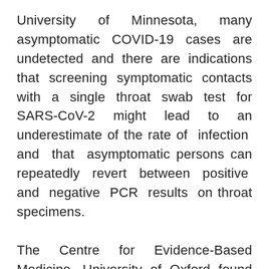University of Minnesota, many asymptomatic COVID-19 cases are undetected and there are indications that screening symptomatic contacts with a single throat swab test for SARS-CoV-2 might lead to an underestimate of the rate of infection and that asymptomatic persons can repeatedly revert between positive and negative PCR results on throat specimens.

The Centre for Evidence-Based Medicine, University of Oxford found that between 5% and 80% of people testing positive for SARS-CoV-2 may be asymptomatic,